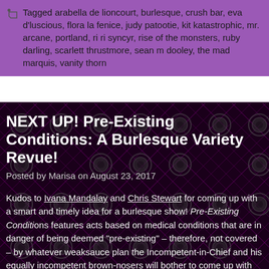Tagged arabella de lioncourt, burlesque, crush bar, eva d'luscious, flora la fenice, judy patootie, kit katastrophic, mr. arcane, portland, ri ri syncyr, rise of the monsters, ruby darling, scarlett thrustmore, sean m dooley, the mad marquis, vanity thorn
NEXT UP! Pre-Existing Conditions: A Burlesque Variety Revue!
Posted by Marisa on August 23, 2017
Kudos to Ivana Mandalay and Chris Stewart for coming up with a smart and timely idea for a burlesque show! Pre-Existing Conditions features acts based on medical conditions that are in danger of being deemed "pre-existing" – therefore, not covered – by whatever weaksauce plan the Incompetent-in-Chief and his equally incompetent brown-nosers will bother to come up with when they're not too busy saber-rattling and defending white supremacy. With a variety of performances (including burlesque!) from Glitterati LaReaux, Dominoe DeSoto, Su... Darby Doll, Karlio Lover du Soleil, Layne Fayde and Ki...